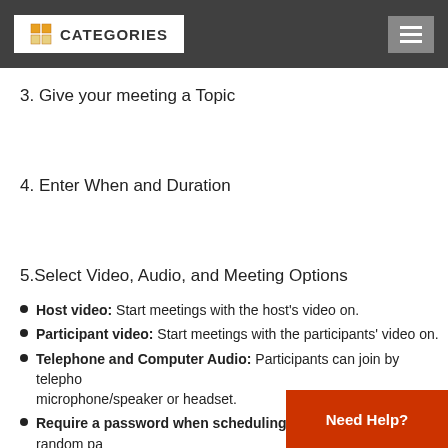CATEGORIES
3. Give your meeting a Topic
4. Enter When and Duration
5.Select Video, Audio, and Meeting Options
Host video: Start meetings with the host's video on.
Participant video: Start meetings with the participants' video on.
Telephone and Computer Audio: Participants can join by telephone using microphone/speaker or headset.
Require a password when scheduling new meetings: A random password is generated when scheduling a meeting. Participants need to enter the password to join.
Join before host: Allow participants to join the meeting before the host. By default, participants can only join after the host starts the meeting.
Mute participants upon entry: Automaticall...